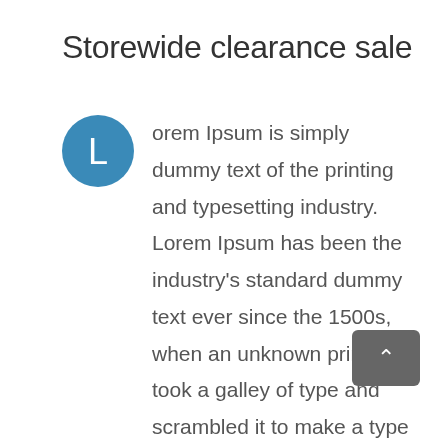Storewide clearance sale
Lorem Ipsum is simply dummy text of the printing and typesetting industry. Lorem Ipsum has been the industry's standard dummy text ever since the 1500s, when an unknown printer took a galley of type and scrambled it to make a type specimen book. It has survived not only five centuries, but also the leap into electronic typesetting, remaining essentially unchanged. It was popularised in the 1960s with the release of Letraset sheets containing Lorem Ipsum passages, and more recently with desktop publishing software like Aldus PageMaker including versions